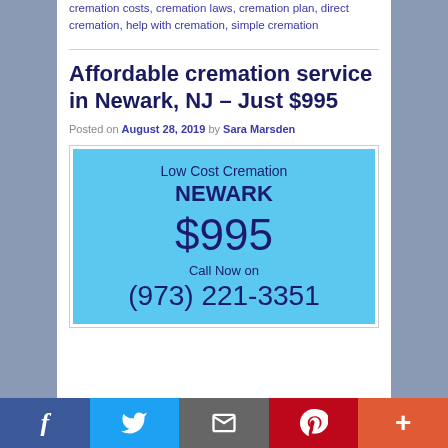cremation costs, cremation laws, cremation plan, direct cremation, help with cremation, simple cremation
Affordable cremation service in Newark, NJ – Just $995
Posted on August 28, 2019 by Sara Marsden
[Figure (infographic): Light blue advertisement box: Low Cost Cremation NEWARK $995 Call Now on (973) 221-3351]
Social share bar: Facebook, Twitter, Email, Pinterest, More